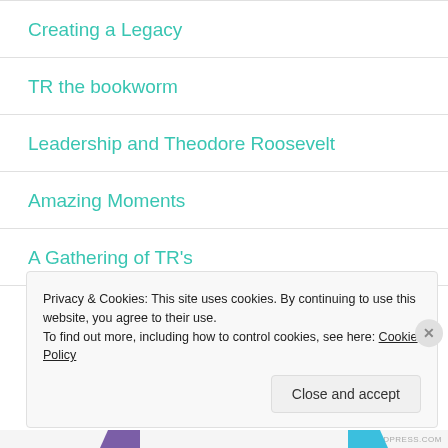Creating a Legacy
TR the bookworm
Leadership and Theodore Roosevelt
Amazing Moments
A Gathering of TR's
Privacy & Cookies: This site uses cookies. By continuing to use this website, you agree to their use.
To find out more, including how to control cookies, see here: Cookie Policy
Close and accept